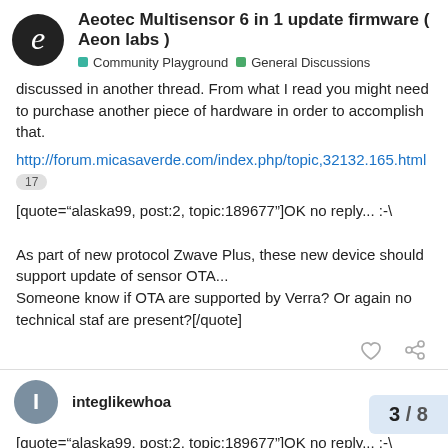Aeotec Multisensor 6 in 1 update firmware ( Aeon labs ) — Community Playground — General Discussions
discussed in another thread. From what I read you might need to purchase another piece of hardware in order to accomplish that.
http://forum.micasaverde.com/index.php/topic,32132.165.html
17
[quote="alaska99, post:2, topic:189677"]OK no reply... :-\

As part of new protocol Zwave Plus, these new device should support update of sensor OTA...
Someone know if OTA are supported by Verra? Or again no technical staf are present?[/quote]
integlikewhoa — Nov '15
[quote="alaska99, post:2, topic:189677"]OK no reply... :-\
As part of new protocol Zwave Plus, these new device should support update of sensor OTA...
3 / 8